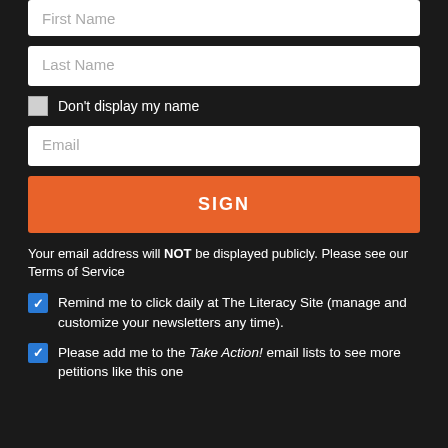First Name
Last Name
Don't display my name
Email
SIGN
Your email address will NOT be displayed publicly. Please see our Terms of Service
Remind me to click daily at The Literacy Site (manage and customize your newsletters any time).
Please add me to the Take Action! email lists to see more petitions like this one